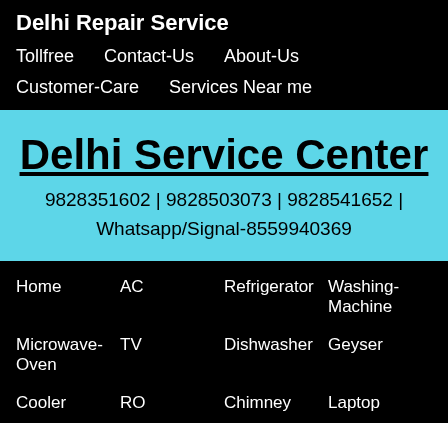Delhi Repair Service
Tollfree   Contact-Us   About-Us
Customer-Care   Services Near me
Delhi Service Center
9828351602 | 9828503073 | 9828541652 | Whatsapp/Signal-8559940369
Home   AC   Refrigerator   Washing-Machine
Microwave-Oven   TV   Dishwasher   Geyser
Cooler   RO   Chimney   Laptop